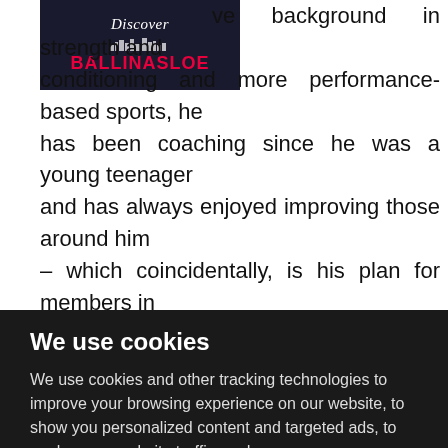[Figure (logo): Discover Ballinasloe logo with dark navy background, pink/red text]
ve background in strength and conditioning and more performance-based sports, he has been coaching since he was a young teenager and has always enjoyed improving those around him – which coincidentally, is his plan for members in Ballinasloe. The team at ShearFitness Gym and Leisure Centre is comprised of many individuals, both from the local area and newer residents to the town. Jay said: “The aim when assembling this team was to
We use cookies
We use cookies and other tracking technologies to improve your browsing experience on our website, to show you personalized content and targeted ads, to analyze our website traffic, and